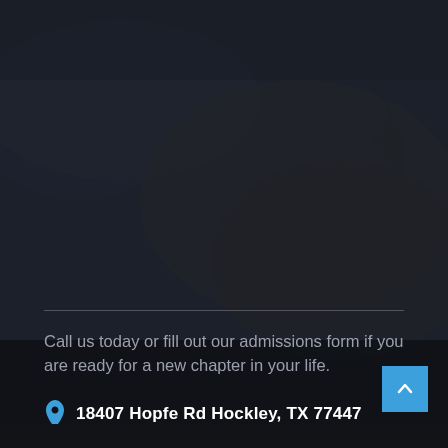[Figure (photo): Dark-toned background photo of a person resting on pillows/couch, overlaid with a dark semi-transparent layer. A horizontal divider line separates the image area from the contact information below.]
Call us today or fill out our admissions form if you are ready for a new chapter in your life.
18407 Hopfe Rd Hockley, TX 77447
(936) 800-8025
info@mallardlakedetox.com